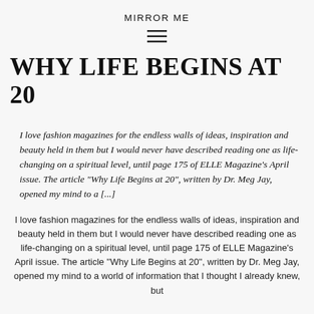MIRROR ME
[Figure (other): Hamburger menu icon (three horizontal lines)]
WHY LIFE BEGINS AT 20
I love fashion magazines for the endless walls of ideas, inspiration and beauty held in them but I would never have described reading one as life-changing on a spiritual level, until page 175 of ELLE Magazine’s April issue. The article “Why Life Begins at 20”, written by Dr. Meg Jay, opened my mind to a [...]
I love fashion magazines for the endless walls of ideas, inspiration and beauty held in them but I would never have described reading one as life-changing on a spiritual level, until page 175 of ELLE Magazine's April issue. The article ''Why Life Begins at 20'', written by Dr. Meg Jay, opened my mind to a world of information that I thought I already knew, but